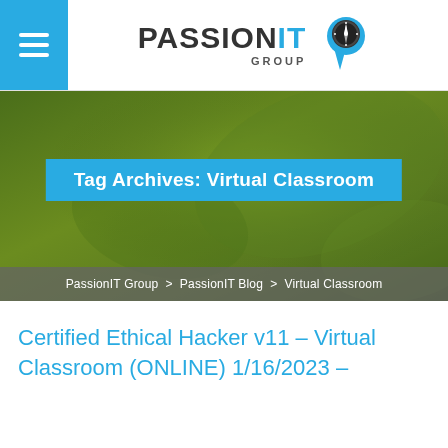[Figure (logo): PassionIT Group logo with compass icon]
Tag Archives: Virtual Classroom
PassionIT Group > PassionIT Blog > Virtual Classroom
Certified Ethical Hacker v11 – Virtual Classroom (ONLINE) 1/16/2023 –